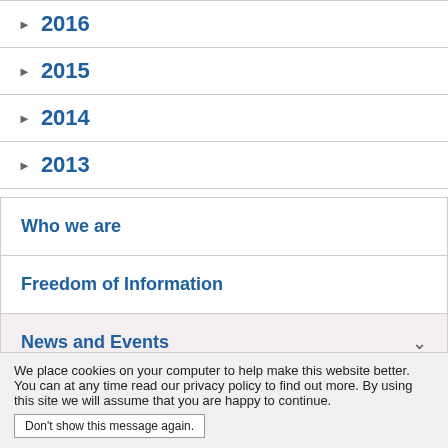▶ 2016
▶ 2015
▶ 2014
▶ 2013
Who we are
Freedom of Information
News and Events
Latest News
We place cookies on your computer to help make this website better. You can at any time read our privacy policy to find out more. By using this site we will assume that you are happy to continue.
Don't show this message again.